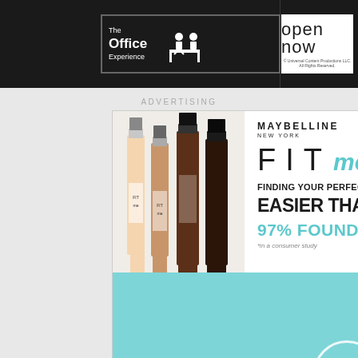[Figure (advertisement): The Office Experience 'open now' banner advertisement with black background, white logo box and open now text. Universal Content Productions LLC copyright notice.]
ADVERTISING
[Figure (advertisement): Maybelline New York FIT me advertisement. Top half shows foundation bottles and text: FINDING YOUR PERFECT FIT IS EVEN EASIER THAN DATING, 97% FOUND THEIR FIT*, *in a consumer study. Bottom half is teal/cyan video player area with large play button circle and playback controls.]